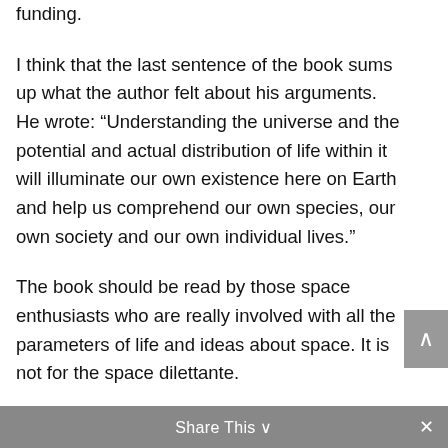funding.
I think that the last sentence of the book sums up what the author felt about his arguments. He wrote: “Understanding the universe and the potential and actual distribution of life within it will illuminate our own existence here on Earth and help us comprehend our own species, our own society and our own individual lives.”
The book should be read by those space enthusiasts who are really involved with all the parameters of life and ideas about space. It is not for the space dilettante.
Share This ∨